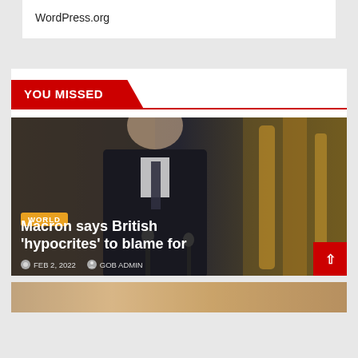WordPress.org
YOU MISSED
[Figure (photo): Photo of Emmanuel Macron in a dark suit speaking at a podium, with an ornate gold-framed background. Overlaid with article title and metadata.]
Macron says British 'hypocrites' to blame for
FEB 2, 2022  GOB ADMIN
[Figure (photo): Bottom strip of a second article photo, partially visible]